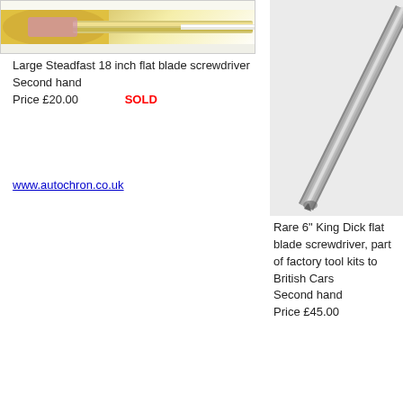[Figure (photo): Photo of a large flat blade screwdriver (left column, cropped top)]
Large Steadfast 18 inch flat blade screwdriver
Second hand
Price £20.00    SOLD
[Figure (photo): Photo of a King Dick flat blade screwdriver (right column, cropped top)]
Rare 6" King Dick flat blade screwdriver, part of factory tool kits to British Cars
Second hand
Price £45.00
www.autochron.co.uk